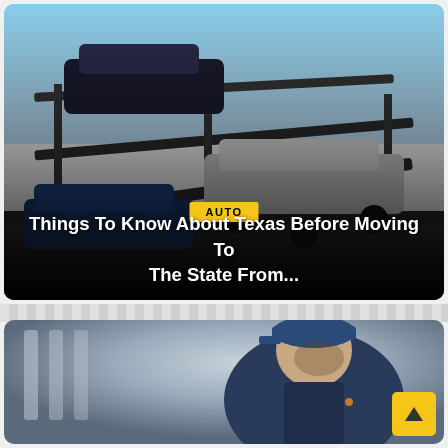[Figure (photo): A car carrier truck loaded with multiple vehicles including dark sedans and a white/silver car, photographed outdoors with blue sky in background. The image has a dark gradient overlay at the bottom.]
AUTO
Things To Know About Texas Before Moving To The State From...
[Figure (photo): A mechanic or auto technician wearing a dark blue uniform and blue baseball cap, looking downward, photographed in what appears to be an auto shop or garage setting with blurred background.]